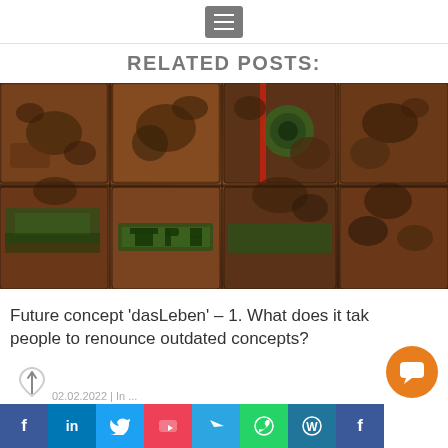RELATED POSTS:
[Figure (photo): Compressed/baled scrap metal and old mechanical parts stacked in rows, showing various rusty engine components, wheels, and machinery parts crushed into rectangular bales.]
Future concept 'dasLeben' – 1. What does it take for people to renounce outdated concepts?
02.02.2022 | In ...